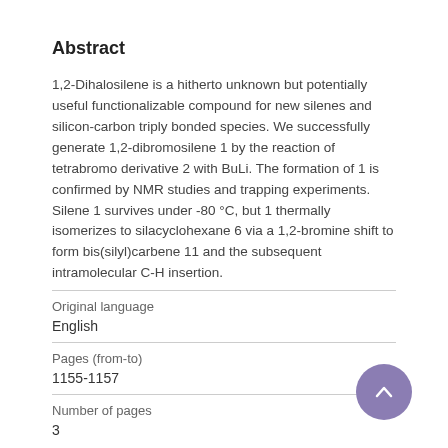Abstract
1,2-Dihalosilene is a hitherto unknown but potentially useful functionalizable compound for new silenes and silicon-carbon triply bonded species. We successfully generate 1,2-dibromosilene 1 by the reaction of tetrabromo derivative 2 with BuLi. The formation of 1 is confirmed by NMR studies and trapping experiments. Silene 1 survives under -80 °C, but 1 thermally isomerizes to silacyclohexane 6 via a 1,2-bromine shift to form bis(silyl)carbene 11 and the subsequent intramolecular C-H insertion.
| Original language |  |
| English |  |
| Pages (from-to) |  |
| 1155-1157 |  |
| Number of pages |  |
| 3 |  |